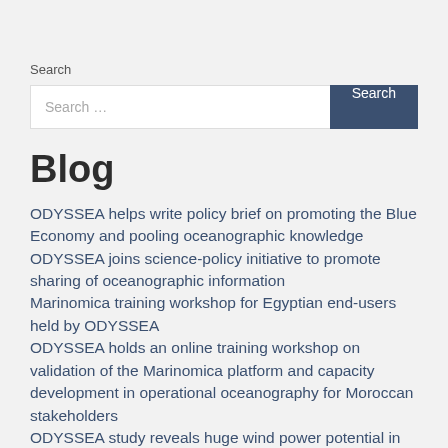Search
[Figure (screenshot): Search input box with placeholder text 'Search ...' and a dark blue 'Search' button]
Blog
ODYSSEA helps write policy brief on promoting the Blue Economy and pooling oceanographic knowledge
ODYSSEA joins science-policy initiative to promote sharing of oceanographic information
Marinomica training workshop for Egyptian end-users held by ODYSSEA
ODYSSEA holds an online training workshop on validation of the Marinomica platform and capacity development in operational oceanography for Moroccan stakeholders
ODYSSEA study reveals huge wind power potential in